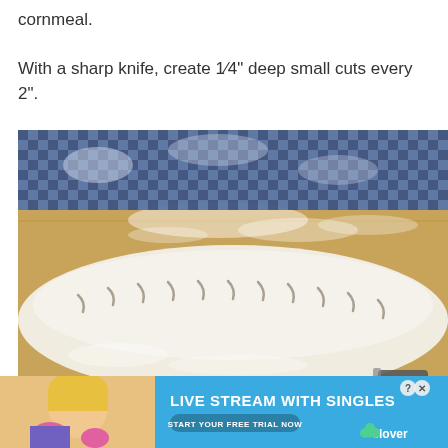cornmeal.

With a sharp knife, create 1⁄4" deep small cuts every 2".
[Figure (photo): A raw bread loaf (baguette-style) resting on a wooden cutting board dusted with flour. The top of the dough has diagonal slash marks cut into it. A blue and white cloth/towel is visible in the background. A knife handle is partially visible at the bottom right.]
[Figure (photo): Advertisement banner: Live Stream with Singles - Start Your Free Trial Now - Clover app. Features a woman with blonde hair. Teal/blue background with white bold text.]